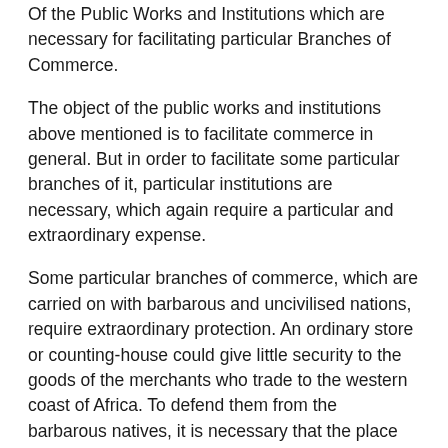Of the Public Works and Institutions which are necessary for facilitating particular Branches of Commerce.
The object of the public works and institutions above mentioned is to facilitate commerce in general. But in order to facilitate some particular branches of it, particular institutions are necessary, which again require a particular and extraordinary expense.
Some particular branches of commerce, which are carried on with barbarous and uncivilised nations, require extraordinary protection. An ordinary store or counting-house could give little security to the goods of the merchants who trade to the western coast of Africa. To defend them from the barbarous natives, it is necessary that the place where they are deposited should be, in some measure, fortified. The disorders in the government of Indostan have been supposed to render a like precaution necessary even among that mild and gentle people; and it was under pretence of securing their persons and property